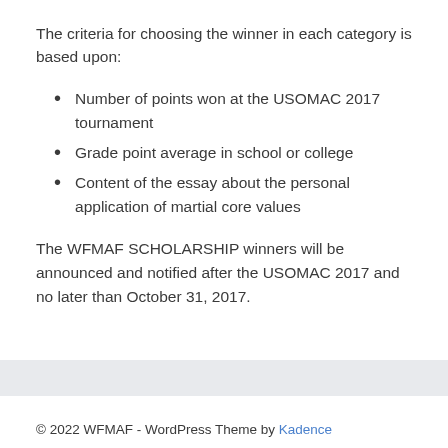The criteria for choosing the winner in each category is based upon:
Number of points won at the USOMAC 2017 tournament
Grade point average in school or college
Content of the essay about the personal application of martial core values
The WFMAF SCHOLARSHIP winners will be announced and notified after the USOMAC 2017 and no later than October 31, 2017.
© 2022 WFMAF - WordPress Theme by Kadence